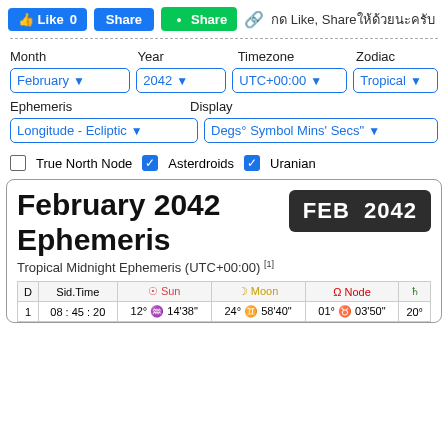Like 0  Share  Share  กด Like, Shareให้ด้วยนะครับ
[Figure (screenshot): UI controls: Month dropdown (February), Year dropdown (2042), Timezone dropdown (UTC+00:00), Zodiac dropdown (Tropical), Ephemeris dropdown (Longitude - Ecliptic), Display dropdown (Degs° Symbol Mins' Secs"), checkboxes for True North Node (unchecked), Asterdroids (checked), Uranian (checked)]
February 2042 Ephemeris
Tropical Midnight Ephemeris (UTC+00:00) [1]
| D | Sid.Time | Sun | Moon | Node |  |
| --- | --- | --- | --- | --- | --- |
| 1 | 08 : 45 : 20 | 12° ♒ 14'38" | 24° ♊ 58'40" | 01° ♉ 03'50" | 20° |